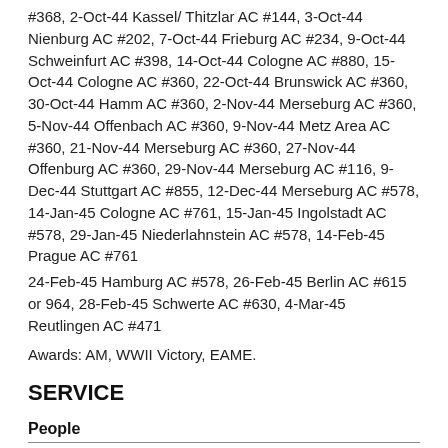#368, 2-Oct-44 Kassel/ Thitzlar AC #144, 3-Oct-44 Nienburg AC #202, 7-Oct-44 Frieburg AC #234, 9-Oct-44 Schweinfurt AC #398, 14-Oct-44 Cologne AC #880, 15-Oct-44 Cologne AC #360, 22-Oct-44 Brunswick AC #360, 30-Oct-44 Hamm AC #360, 2-Nov-44 Merseburg AC #360, 5-Nov-44 Offenbach AC #360, 9-Nov-44 Metz Area AC #360, 21-Nov-44 Merseburg AC #360, 27-Nov-44 Offenburg AC #360, 29-Nov-44 Merseburg AC #116, 9-Dec-44 Stuttgart AC #855, 12-Dec-44 Merseburg AC #578, 14-Jan-45 Cologne AC #761, 15-Jan-45 Ingolstadt AC #578, 29-Jan-45 Niederlahnstein AC #578, 14-Feb-45 Prague AC #761
24-Feb-45 Hamburg AC #578, 26-Feb-45 Berlin AC #615 or 964, 28-Feb-45 Schwerte AC #630, 4-Mar-45 Reutlingen AC #471
Awards: AM, WWII Victory, EAME.
SERVICE
People